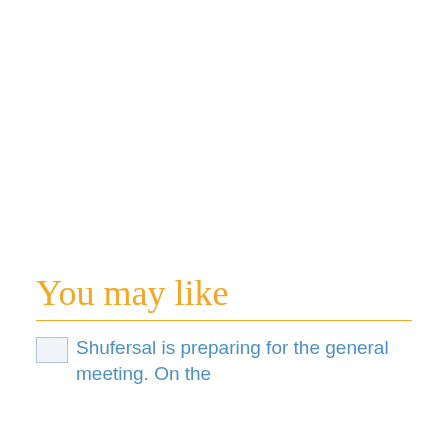You may like
Shufersal is preparing for the general meeting. On the